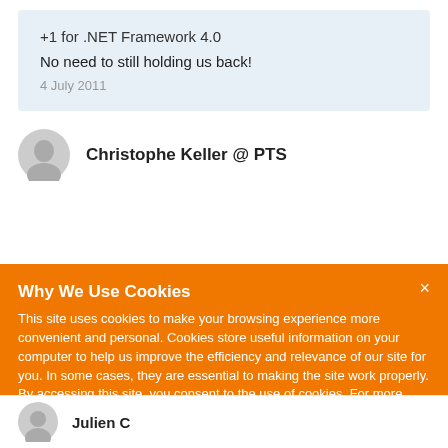+1 for .NET Framework 4.0
No need to still holding us back!
4 July 2011
Christophe Keller @ PTS
Why We Use Cookies
This site uses cookies to make your browsing experience more convenient and personal. Cookies store useful information on your computer to help us improve the efficiency and relevance of our site for you. In some cases, they are essential to making the site work properly. By accessing this site, you consent to the use of cookies. For more information, refer to DevExpress' privacy policy and cookie policy.
I UNDERSTAND
Julien C